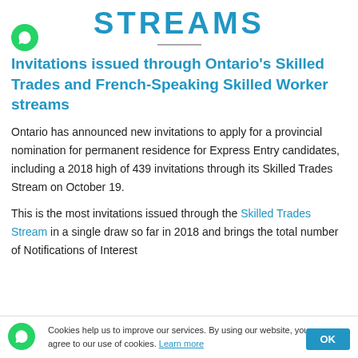STREAMS
Invitations issued through Ontario's Skilled Trades and French-Speaking Skilled Worker streams
Ontario has announced new invitations to apply for a provincial nomination for permanent residence for Express Entry candidates, including a 2018 high of 439 invitations through its Skilled Trades Stream on October 19.
This is the most invitations issued through the Skilled Trades Stream in a single draw so far in 2018 and brings the total number of Notifications of Interest (NOI) issued through the stream this year to 1,445...
Cookies help us to improve our services. By using our website, you agree to our use of cookies. Learn more